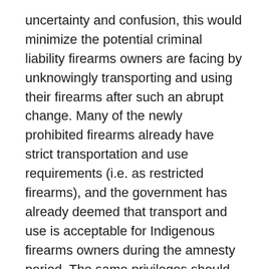uncertainty and confusion, this would minimize the potential criminal liability firearms owners are facing by unknowingly transporting and using their firearms after such an abrupt change. Many of the newly prohibited firearms already have strict transportation and use requirements (i.e. as restricted firearms), and the government has already deemed that transport and use is acceptable for Indigenous firearms owners during the amnesty period. The same privileges should be afforded to all Canadians.
Buy-back program
The government has been mandated to establish a buy-back program for these firearms, but no details were released when the amended regulations were announced. Given the concerns outlined in this letter, the OFAH cannot support the amended regulations in whole or in part. The OFAH recommends that any buy-back